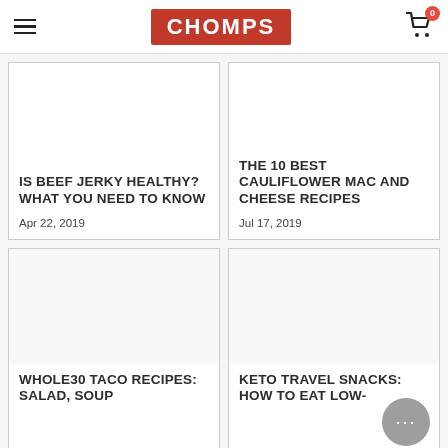CHOMPS
IS BEEF JERKY HEALTHY? WHAT YOU NEED TO KNOW
Apr 22, 2019
THE 10 BEST CAULIFLOWER MAC AND CHEESE RECIPES
Jul 17, 2019
WHOLE30 TACO RECIPES: SALAD, SOUP
KETO TRAVEL SNACKS: HOW TO EAT LOW-